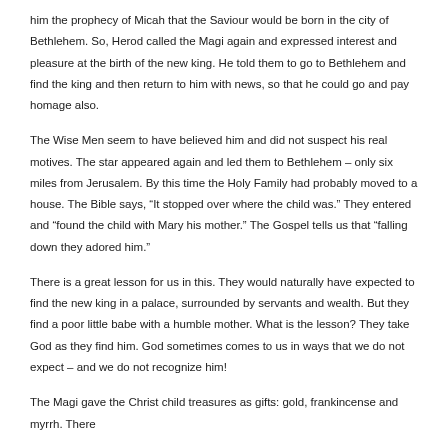him the prophecy of Micah that the Saviour would be born in the city of Bethlehem. So, Herod called the Magi again and expressed interest and pleasure at the birth of the new king. He told them to go to Bethlehem and find the king and then return to him with news, so that he could go and pay homage also.
The Wise Men seem to have believed him and did not suspect his real motives. The star appeared again and led them to Bethlehem – only six miles from Jerusalem. By this time the Holy Family had probably moved to a house. The Bible says, “It stopped over where the child was.” They entered and “found the child with Mary his mother.” The Gospel tells us that “falling down they adored him.”
There is a great lesson for us in this. They would naturally have expected to find the new king in a palace, surrounded by servants and wealth. But they find a poor little babe with a humble mother. What is the lesson? They take God as they find him. God sometimes comes to us in ways that we do not expect – and we do not recognize him!
The Magi gave the Christ child treasures as gifts: gold, frankincense and myrrh. There